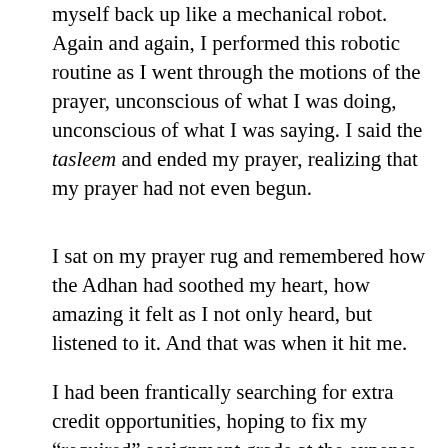myself back up like a mechanical robot. Again and again, I performed this robotic routine as I went through the motions of the prayer, unconscious of what I was doing, unconscious of what I was saying. I said the tasleem and ended my prayer, realizing that my prayer had not even begun.
I sat on my prayer rug and remembered how the Adhan had soothed my heart, how amazing it felt as I not only heard, but listened to it. And that was when it hit me.
I had been frantically searching for extra credit opportunities, hoping to fix my “required” assignment grade at the expense of an assignment far more important: my prayer. SubhanAllah, I was worried about a 48/50 on a mere exam, when I had most likely failed